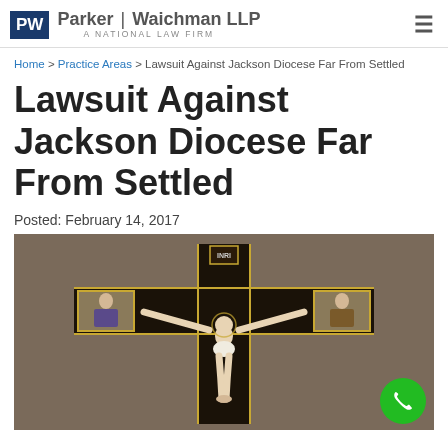Parker | Waichman LLP — A National Law Firm
Home > Practice Areas > Lawsuit Against Jackson Diocese Far From Settled
Lawsuit Against Jackson Diocese Far From Settled
Posted: February 14, 2017
[Figure (photo): A crucifix showing Jesus on the cross with golden decorative elements and smaller religious icons on both sides, set against a dark background.]